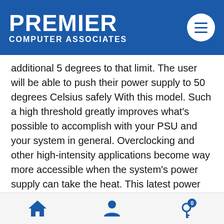PREMIER COMPUTER ASSOCIATES
additional 5 degrees to that limit. The user will be able to push their power supply to 50 degrees Celsius safely With this model. Such a high threshold greatly improves what’s possible to accomplish with your PSU and your system in general. Overclocking and other high-intensity applications become way more accessible when the system’s power supply can take the heat. This latest power supply comes with a set of flat black cables, you can customize it. Here, the unused space within the chassis allows for reduced clutter and better airflow, thereby improving your system’s overall cooling. The Full modular cables carry an aesthetic benefit as well by reducing the amount of space needed within the case
Home | Account | Cart